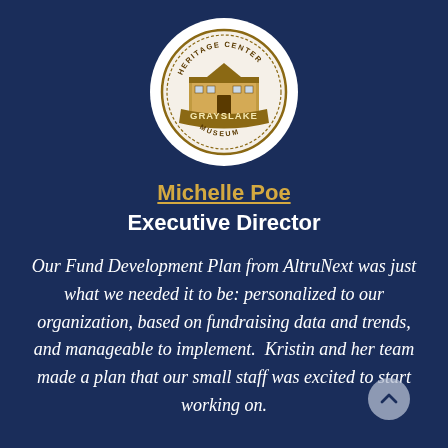[Figure (logo): Circular logo for Grayslake Heritage Center Museum with a building illustration and decorative border]
Michelle Poe
Executive Director
Our Fund Development Plan from AltruNext was just what we needed it to be: personalized to our organization, based on fundraising data and trends, and manageable to implement.  Kristin and her team made a plan that our small staff was excited to start working on.